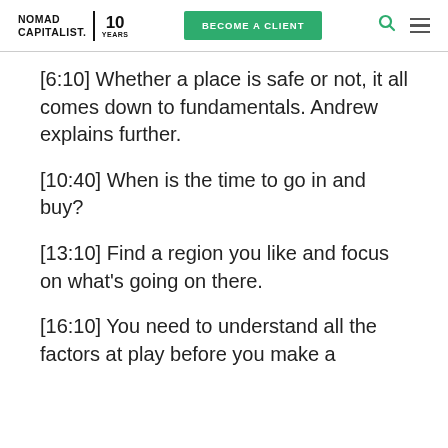NOMAD CAPITALIST. 10 YEARS | BECOME A CLIENT
[6:10] Whether a place is safe or not, it all comes down to fundamentals. Andrew explains further.
[10:40] When is the time to go in and buy?
[13:10] Find a region you like and focus on what's going on there.
[16:10] You need to understand all the factors at play before you make a